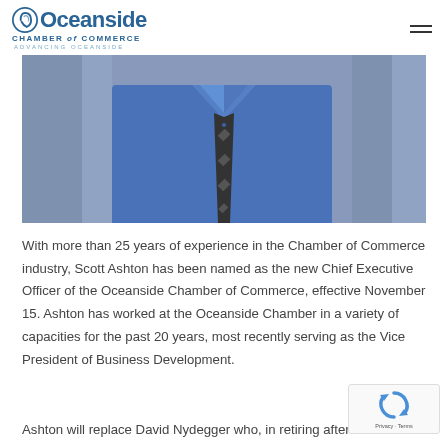Oceanside Chamber of Commerce - Advancing Oceanside
[Figure (photo): Man in blue dress shirt and dark patterned tie, photographed from chest up against a blurred background]
With more than 25 years of experience in the Chamber of Commerce industry, Scott Ashton has been named as the new Chief Executive Officer of the Oceanside Chamber of Commerce, effective November 15. Ashton has worked at the Oceanside Chamber in a variety of capacities for the past 20 years, most recently serving as the Vice President of Business Development.
Ashton will replace David Nydegger who, in retiring after